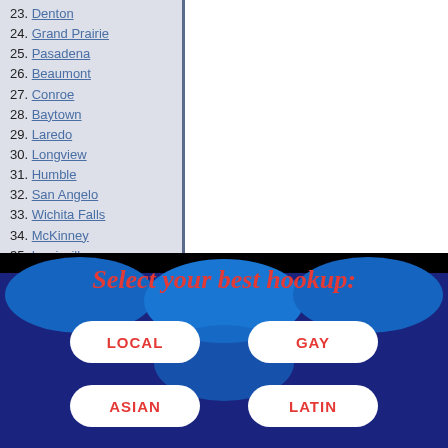23. Denton
24. Grand Prairie
25. Pasadena
26. Beaumont
27. Conroe
28. Baytown
29. Laredo
30. Longview
31. Humble
32. San Angelo
33. Wichita Falls
34. McKinney
35. Lewisville
36. Brownsville
37. Round Rock
38. Carrollton
39. McAllen
40. College Station
41. Temple
42. Bryan
43. Victoria
44. Texarkana
[Figure (infographic): Advertisement banner with dark background, blue wavy decorative top, red italic text 'Select your best hookup:', and four white rounded-rectangle buttons labeled LOCAL, GAY, ASIAN, LATIN in red bold text.]